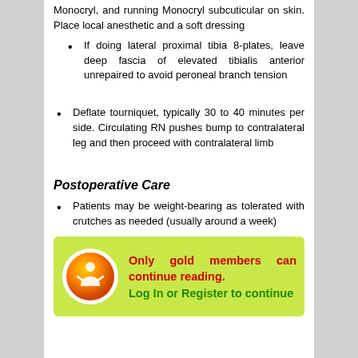Monocryl, and running Monocryl subcuticular on skin. Place local anesthetic and a soft dressing
If doing lateral proximal tibia 8-plates, leave deep fascia of elevated tibialis anterior unrepaired to avoid peroneal branch tension
Deflate tourniquet, typically 30 to 40 minutes per side. Circulating RN pushes bump to contralateral leg and then proceed with contralateral limb
Postoperative Care
Patients may be weight-bearing as tolerated with crutches as needed (usually around a week)
[Figure (infographic): Green box with orange gold member icon and text: Only gold members can continue reading. Log In or Register to continue]